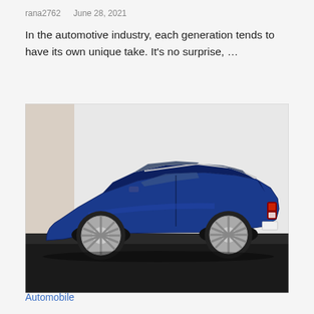rana2762   June 28, 2021
In the automotive industry, each generation tends to have its own unique take. It's no surprise, ...
[Figure (photo): Side-rear view of a blue Tesla Model S sedan parked against a white wall with a dark pavement floor. The car has silver multi-spoke alloy wheels and a sporty fastback silhouette.]
Automobile